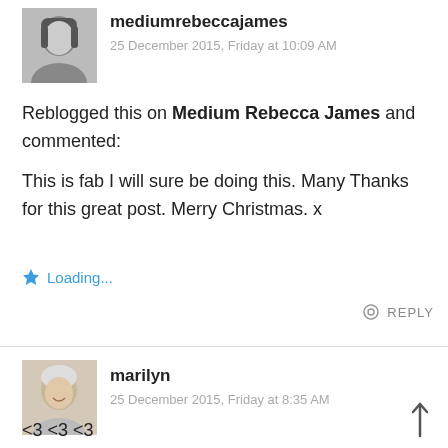[Figure (photo): Black and white avatar photo of mediumrebeccajames, woman with short dark hair]
mediumrebeccajames
25 December 2015, Friday at 10:09 AM
Reblogged this on Medium Rebecca James and commented:
This is fab I will sure be doing this. Many Thanks for this great post. Merry Christmas. x
Loading...
REPLY
[Figure (photo): Color avatar photo of marilyn, woman with short silver/white hair smiling]
marilyn
25 December 2015, Friday at 8:35 AM
<3 <3 <3